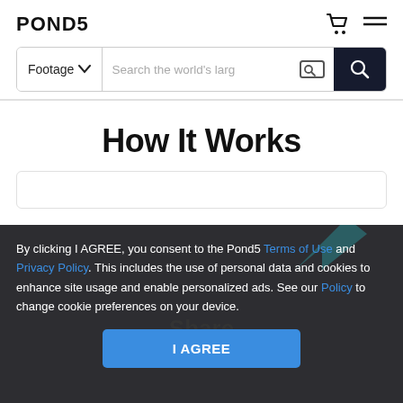POND5
[Figure (screenshot): Search bar with Footage dropdown, search input placeholder 'Search the world's larg', image search icon, and dark search button with magnifying glass icon]
How It Works
[Figure (infographic): Cookie consent overlay with teal share arrow icon background. Text: 'By clicking I AGREE, you consent to the Pond5 Terms of Use and Privacy Policy. This includes the use of personal data and cookies to enhance site usage and enable personalized ads. See our Policy to change cookie preferences on your device.' Blue 'I AGREE' button. Behind overlay: 'Share' heading and 'Share your unique referral link with' subtext.]
By clicking I AGREE, you consent to the Pond5 Terms of Use and Privacy Policy. This includes the use of personal data and cookies to enhance site usage and enable personalized ads. See our Policy to change cookie preferences on your device.